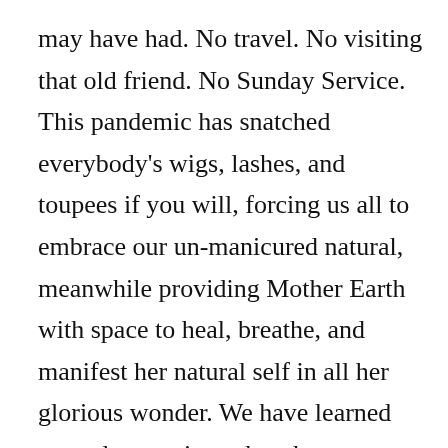may have had. No travel. No visiting that old friend. No Sunday Service. This pandemic has snatched everybody's wigs, lashes, and toupees if you will, forcing us all to embrace our un-manicured natural, meanwhile providing Mother Earth with space to heal, breathe, and manifest her natural self in all her glorious wonder. We have learned many lessons in such a short amount of time from this pandemic including that consumerism is an addiction, and that mothers really can work from home. And, we've been forced to actually be social via social media platforms in order to feed our